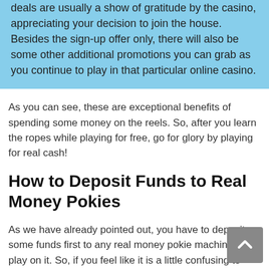deals are usually a show of gratitude by the casino, appreciating your decision to join the house. Besides the sign-up offer only, there will also be some other additional promotions you can grab as you continue to play in that particular online casino.
As you can see, these are exceptional benefits of spending some money on the reels. So, after you learn the ropes while playing for free, go for glory by playing for real cash!
How to Deposit Funds to Real Money Pokies
As we have already pointed out, you have to deposit some funds first to any real money pokie machine to play on it. So, if you feel like it is a little confusing to make a deposit,